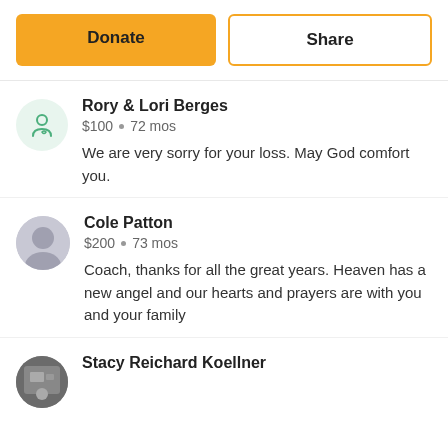[Figure (other): Two buttons: Donate (orange/yellow filled) and Share (outlined with orange border)]
Rory & Lori Berges
$100 • 72 mos
We are very sorry for your loss. May God comfort you.
Cole Patton
$200 • 73 mos
Coach, thanks for all the great years. Heaven has a new angel and our hearts and prayers are with you and your family
Stacy Reichard Koellner